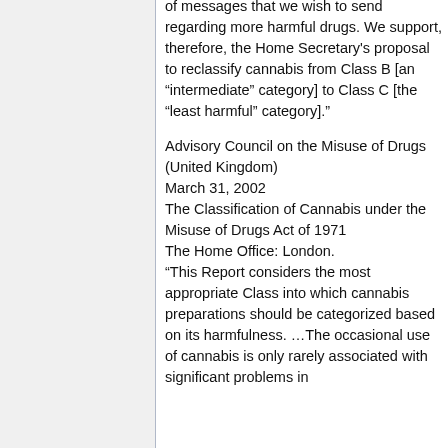of messages that we wish to send regarding more harmful drugs. We support, therefore, the Home Secretary's proposal to reclassify cannabis from Class B [an “intermediate” category] to Class C [the “least harmful” category].”
Advisory Council on the Misuse of Drugs (United Kingdom)
March 31, 2002
The Classification of Cannabis under the Misuse of Drugs Act of 1971
The Home Office: London.
“This Report considers the most appropriate Class into which cannabis preparations should be categorized based on its harmfulness. …The occasional use of cannabis is only rarely associated with significant problems in